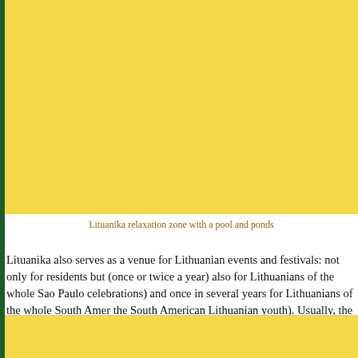[Figure (photo): Lituanika relaxation zone with a pool and ponds — yellow/golden toned image, top portion of the page]
Lituanika relaxation zone with a pool and ponds
Lituanika also serves as a venue for Lithuanian events and festivals: not only for residents but (once or twice a year) also for Lithuanians of the whole Sao Paulo celebrations) and once in several years for Lithuanians of the whole South Amer the South American Lithuanian youth). Usually, the festivities take place in the p it is also possible to spend a night.
[Figure (photo): Second image of Lituanika — yellow/golden toned, bottom portion of the page]